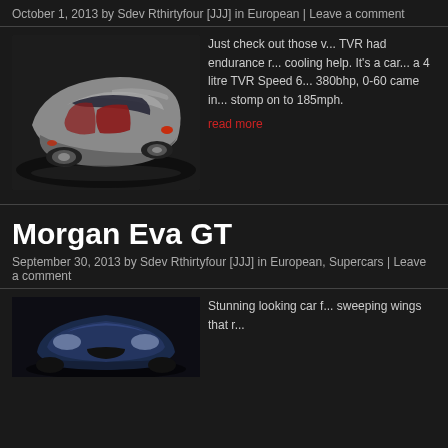October 1, 2013 by Sdev Rthirtyfour [JJJ] in European | Leave a comment
[Figure (photo): Silver TVR sports car photographed from rear three-quarter angle on dark background, doors open showing red interior]
Just check out those v... TVR had endurance r... cooling help. It's a car... a 4 litre TVR Speed 6... 380bhp, 0-60 came in... stomp on to 185mph.
read more
Morgan Eva GT
September 30, 2013 by Sdev Rthirtyfour [JJJ] in European, Supercars | Leave a comment
[Figure (photo): Dark blue Morgan Eva GT sports car photographed from front angle on dark background]
Stunning looking car f... sweeping wings that r...